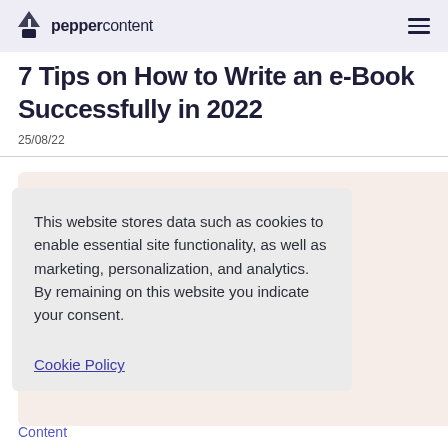peppercontent
7 Tips on How to Write an e-Book Successfully in 2022
25/08/22
This website stores data such as cookies to enable essential site functionality, as well as marketing, personalization, and analytics. By remaining on this website you indicate your consent.
Cookie Policy
Content